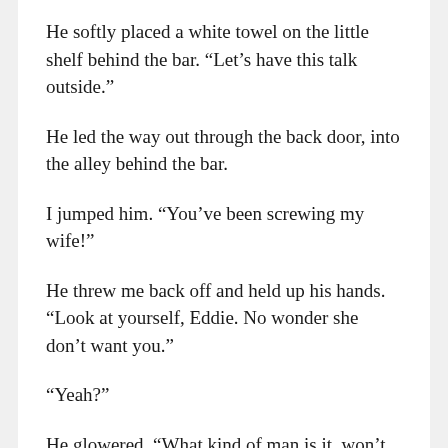He softly placed a white towel on the little shelf behind the bar. “Let’s have this talk outside.”
He led the way out through the back door, into the alley behind the bar.
I jumped him. “You’ve been screwing my wife!”
He threw me back off and held up his hands. “Look at yourself, Eddie. No wonder she don’t want you.”
“Yeah?”
He glowered. “What kind of man is it, won’t give a girl a little bambino?”
My hand dug for the gun. My finger found the trigger guard.
“Angie don’t wanna see you any more. Neither do